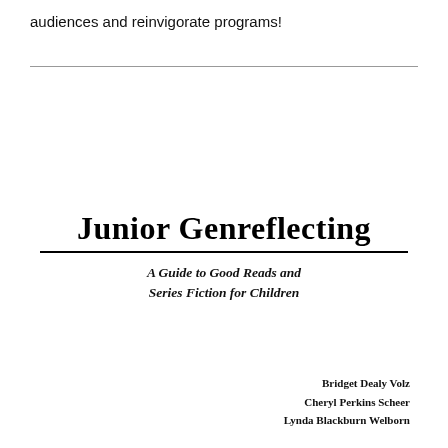audiences and reinvigorate programs!
Junior Genreflecting
A Guide to Good Reads and Series Fiction for Children
Bridget Dealy Volz
Cheryl Perkins Scheer
Lynda Blackburn Welborn